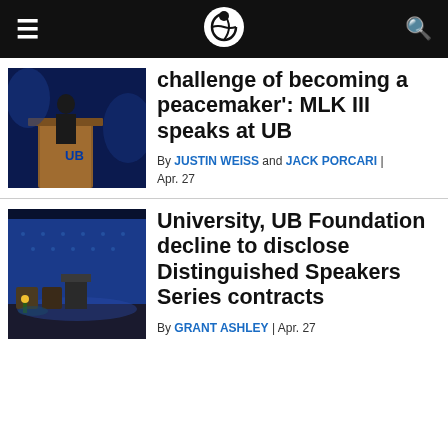Spectrum News — navigation bar with hamburger menu, logo, and search icon
[Figure (photo): A person speaking at a UB-branded wooden podium on a dark stage with blue background lighting]
challenge of becoming a peacemaker': MLK III speaks at UB
By JUSTIN WEISS and JACK PORCARI | Apr. 27
[Figure (photo): An empty stage with a lectern, two chairs, flowers, and a blue patterned backdrop in a dark auditorium]
University, UB Foundation decline to disclose Distinguished Speakers Series contracts
By GRANT ASHLEY | Apr. 27